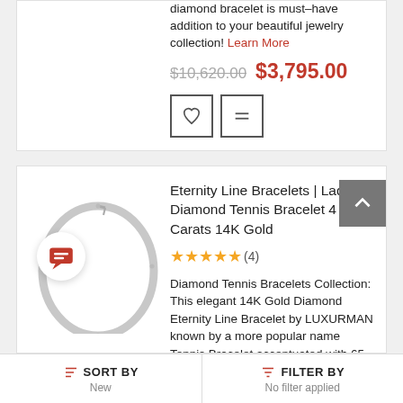diamond bracelet is must-have addition to your beautiful jewelry collection! Learn More
$10,620.00  $3,795.00
[Figure (illustration): Two square icon buttons: a heart (wishlist) and a compare icon]
Eternity Line Bracelets | Ladies Diamond Tennis Bracelet 4 Carats 14K Gold
[Figure (photo): Silver diamond tennis bracelet oval shaped]
★★★★★(4)
Diamond Tennis Bracelets Collection: This elegant 14K Gold Diamond Eternity Line Bracelet by LUXURMAN known by a more popular name Tennis Bracelet accentuated with 65 sparkling round diamonds totaling amazing 4 carats. The slender line showcases a single
SORT BY  New    FILTER BY  No filter applied